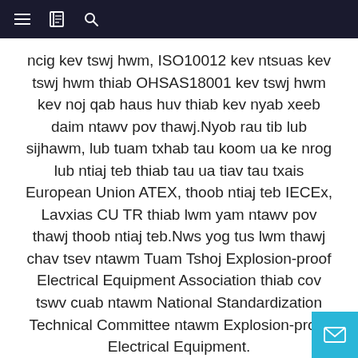≡ [book icon] [search icon]
ncig kev tswj hwm, ISO10012 kev ntsuas kev tswj hwm thiab OHSAS18001 kev tswj hwm kev noj qab haus huv thiab kev nyab xeeb daim ntawv pov thawj.Nyob rau tib lub sijhawm, lub tuam txhab tau koom ua ke nrog lub ntiaj teb thiab tau ua tiav tau txais European Union ATEX, thoob ntiaj teb IECEx, Lavxias CU TR thiab lwm yam ntawv pov thawj thoob ntiaj teb.Nws yog tus lwm thawj chav tsev ntawm Tuam Tshoj Explosion-proof Electrical Equipment Association thiab cov tswv cuab ntawm National Standardization Technical Committee ntawm Explosion-proof Electrical Equipment.